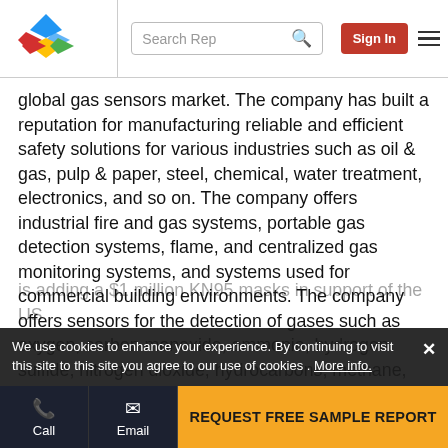Search Rep | Sign In
global gas sensors market. The company has built a reputation for manufacturing reliable and efficient safety solutions for various industries such as oil & gas, pulp & paper, steel, chemical, water treatment, electronics, and so on. The company offers industrial fire and gas systems, portable gas detection systems, flame, and centralized gas monitoring systems, and systems used for commercial building environments. The company offers sensors for the detection of gases such as oxygen, carbon monoxide, ammonia, hydrogen sulfide, nitrogen dioxide, hydrocarbons, methane, hydrogen, chlorine, and dioxides. In March 2020, Honeywell announced adding
We use cookies to enhance your experience. By continuing to visit this site to this site you agree to our use of cookies . More info.
Call | Email | REQUEST FREE SAMPLE REPORT